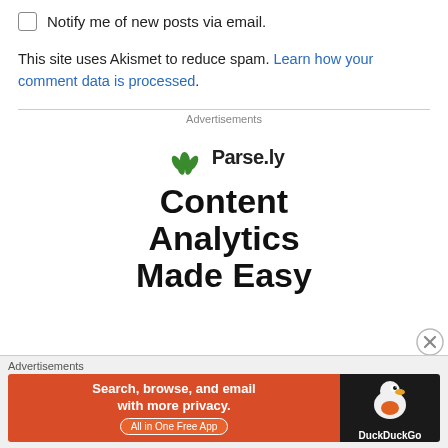Notify me of new posts via email.
This site uses Akismet to reduce spam. Learn how your comment data is processed.
Advertisements
[Figure (logo): Parse.ly logo with green leaf icon and bold text]
Content Analytics Made Easy
Advertisements
[Figure (infographic): DuckDuckGo advertisement banner: Search, browse, and email with more privacy. All in One Free App.]